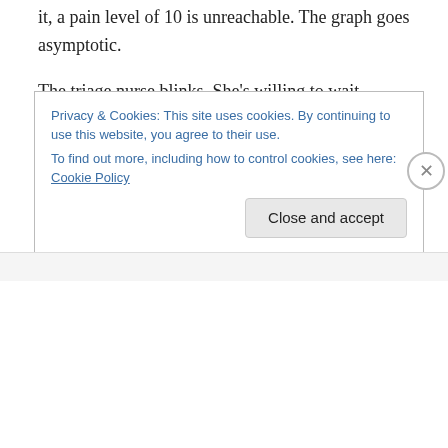it, a pain level of 10 is unreachable. The graph goes asymptotic.
The triage nurse blinks. She's willing to wait.
Am I in the same kind of pain as the lodged gallstone, I ask myself? Well, it's different, but the floor does seem similarly writhable-upon. But it might be the best answer I have–which puts me at a six. Six doesn't feel like the right answer.[1]
Privacy & Cookies: This site uses cookies. By continuing to use this website, you agree to their use.
To find out more, including how to control cookies, see here: Cookie Policy